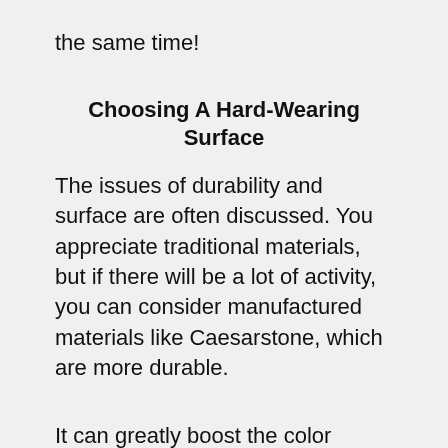the same time!
Choosing A Hard-Wearing Surface
The issues of durability and surface are often discussed. You appreciate traditional materials, but if there will be a lot of activity, you can consider manufactured materials like Caesarstone, which are more durable.
It can greatly boost the color palette accessible in our showroom, so when you combine that with a great standard of durability, this becomes the perfect option.